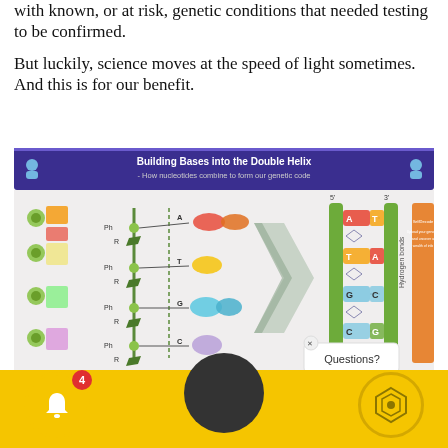with known, or at risk, genetic conditions that needed testing to be confirmed.
But luckily, science moves at the speed of light sometimes. And this is for our benefit.
[Figure (illustration): Educational diagram titled 'Building Bases into the Double Helix - How nucleotides combine to form our genetic code'. Shows nucleotide components (Ph, R groups) combining into a DNA double helix with labeled bases A, T, G, C and hydrogen bonds. Complementary nitrogenous bases label at bottom. SelfDecode ad panel on right. Questions? popup partially visible.]
[Figure (infographic): Bottom app navigation bar with yellow background, bell icon with badge showing 4, dark circle in center, and hexagon logo on right.]